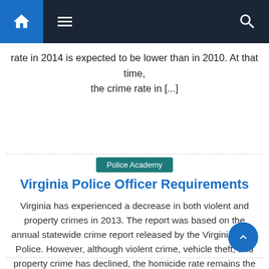Navigation bar with home, menu, and search icons
rate in 2014 is expected to be lower than in 2010. At that time, the crime rate in [...]
Police Academy
Virginia Police Officer Requirements
Virginia has experienced a decrease in both violent and property crimes in 2013. The report was based on the annual statewide crime report released by the Virginia State Police. However, although violent crime, vehicle theft, and property crime has declined, the homicide rate remains the same as last year’s. The demand for police officers in [...]